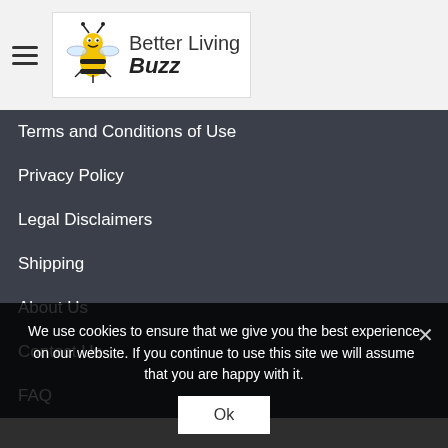[Figure (logo): Better Living Buzz logo with cartoon bee character and text 'Better Living Buzz']
Terms and Conditions of Use
Privacy Policy
Legal Disclaimers
Shipping
About Us
Contact Us
FAQ
We use cookies to ensure that we give you the best experience on our website. If you continue to use this site we will assume that you are happy with it.
Ok